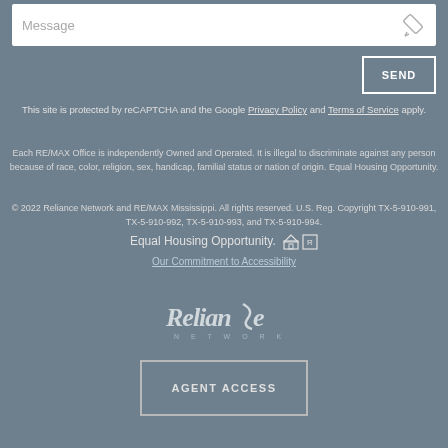[Figure (screenshot): Message input box with placeholder text and pencil edit icon]
SEND
This site is protected by reCAPTCHA and the Google Privacy Policy and Terms of Service apply.
Each RE/MAX Office is independently Owned and Operated. It is illegal to discriminate against any person because of race, color, religion, sex, handicap, familial status or nation of origin. Equal Housing Opportunity.
© 2022 Reliance Network and RE/MAX Mississippi. All rights reserved. U.S. Reg. Copyright TX-5-910-991, TX-5-910-992, TX-5-910-993, and TX-5-910-994.
Equal Housing Opportunity.
Our Commitment to Accessibility
[Figure (logo): Reliance Network logo in white/light gray]
AGENT ACCESS